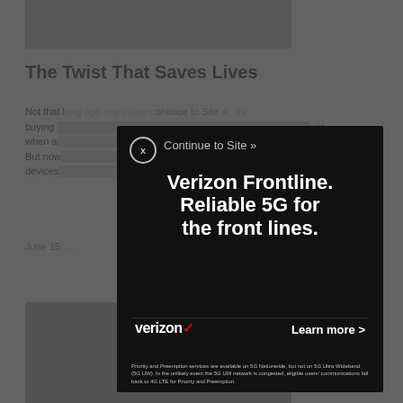[Figure (photo): Background webpage showing article with partially visible image at top]
The Twist That Saves Lives
Not that long ago any police c...as buying ...use when a...kless. But now...ving devices...
June 15,...
[Figure (photo): Bottom article image partially visible]
[Figure (advertisement): Verizon Frontline advertisement modal overlay with text: Verizon Frontline. Reliable 5G for the front lines. Learn more. Fine print about 5G Nationwide and Priority and Preemption services.]